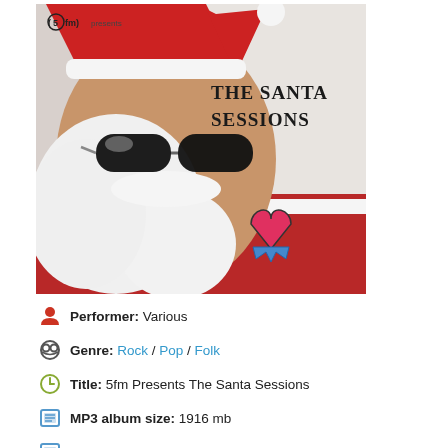[Figure (photo): Album cover: person wearing Santa hat and sunglasses with white beard, red outfit, heart tattoo visible on arm. Text reads '(5fm) presents THE SANTA SESSIONS']
Performer: Various
Genre: Rock / Pop / Folk
Title: 5fm Presents The Santa Sessions
MP3 album size: 1916 mb
FLAC album size: 2031 mb
Country: South Africa